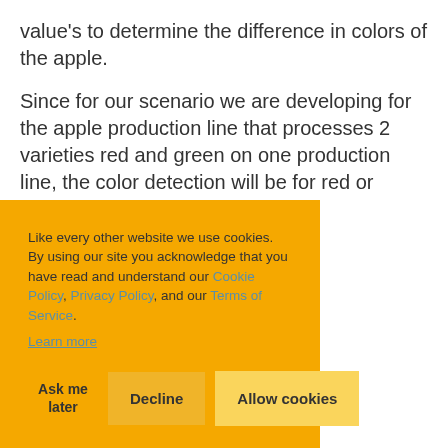value's to determine the difference in colors of the apple.
Since for our scenario we are developing for the apple production line that processes 2 varieties red and green on one production line, the color detection will be for red or green values only.
Like every other website we use cookies. By using our site you acknowledge that you have read and understand our Cookie Policy, Privacy Policy, and our Terms of Service. Learn more
Ask me later | Decline | Allow cookies